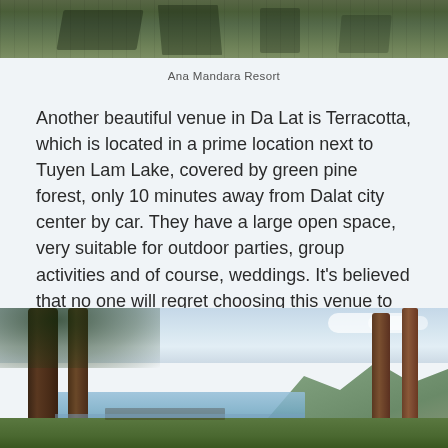[Figure (photo): Top portion of an outdoor photo showing green grass and what appears to be a resort area with wooden structures, dark tones at the top]
Ana Mandara Resort
Another beautiful venue in Da Lat is Terracotta, which is located in a prime location next to Tuyen Lam Lake, covered by green pine forest, only 10 minutes away from Dalat city center by car. They have a large open space, very suitable for outdoor parties, group activities and of course, weddings. It's believed that no one will regret choosing this venue to have the big day celebrated.
[Figure (photo): Photo of tall pine trees near a lake with mountains in the background, taken at Terracotta resort near Tuyen Lam Lake in Da Lat]